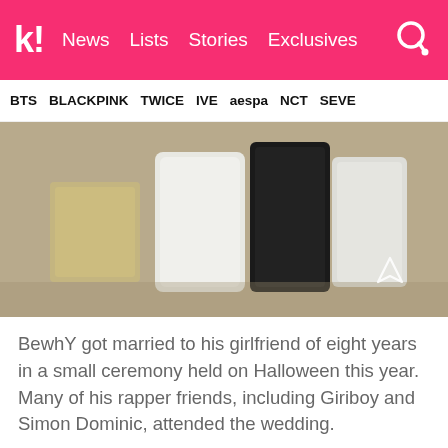k! News Lists Stories Exclusives
BTS BLACKPINK TWICE IVE aespa NCT SEVE
[Figure (photo): Photo of wedding cake or decorative boxes in white, black, and light colors on a tan/beige background, with a send/share icon in the bottom right corner]
BewhY got married to his girlfriend of eight years in a small ceremony held on Halloween this year. Many of his rapper friends, including Giriboy and Simon Dominic, attended the wedding.
19. Geummi (Crayon Pop)
[Figure (photo): Partial photo showing what appears to be a wedding dress with a decorative chandelier or jewelry piece visible]